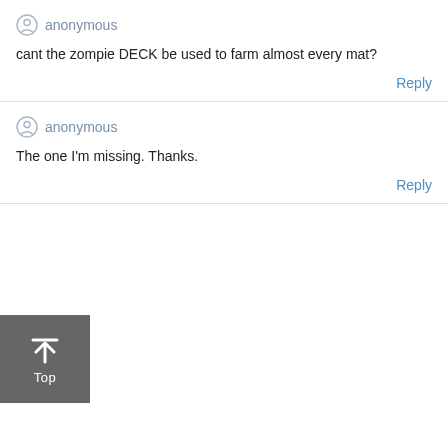anonymous
cant the zompie DECK be used to farm almost every mat?
Reply
anonymous
The one I'm missing. Thanks.
Reply
[Figure (other): Dark gray button with upward arrow icon and 'Top' label]